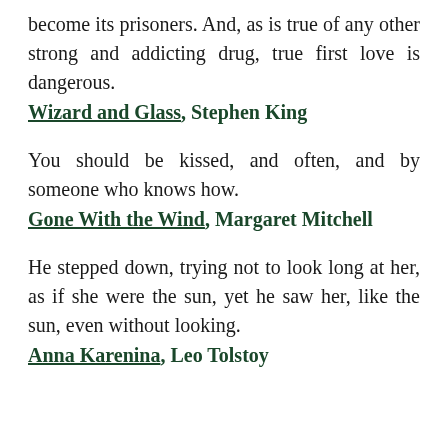become its prisoners. And, as is true of any other strong and addicting drug, true first love is dangerous.
Wizard and Glass, Stephen King
You should be kissed, and often, and by someone who knows how.
Gone With the Wind, Margaret Mitchell
He stepped down, trying not to look long at her, as if she were the sun, yet he saw her, like the sun, even without looking.
Anna Karenina, Leo Tolstoy